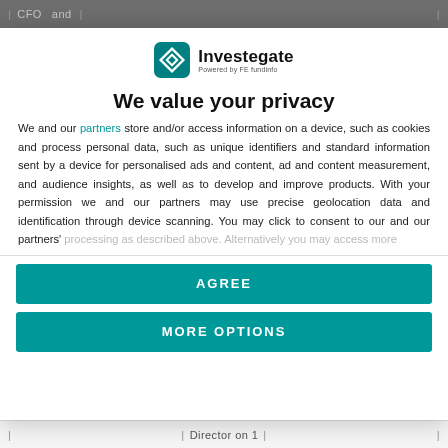| CFO   and |                              |
[Figure (logo): Investegate logo — teal diamond arrow icon with text 'Investegate' and subtitle 'Powered by FE fundinfo']
We value your privacy
We and our partners store and/or access information on a device, such as cookies and process personal data, such as unique identifiers and standard information sent by a device for personalised ads and content, ad and content measurement, and audience insights, as well as to develop and improve products. With your permission we and our partners may use precise geolocation data and identification through device scanning. You may click to consent to our and our partners' processing as described above. Alternatively you may access more
AGREE
MORE OPTIONS
| Director on 1 |